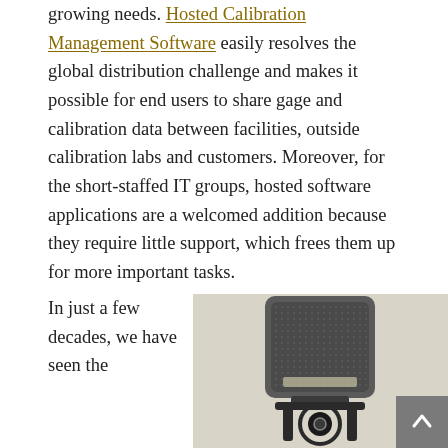growing needs. Hosted Calibration Management Software easily resolves the global distribution challenge and makes it possible for end users to share gage and calibration data between facilities, outside calibration labs and customers. Moreover, for the short-staffed IT groups, hosted software applications are a welcomed addition because they require little support, which frees them up for more important tasks.
In just a few decades, we have seen the
[Figure (photo): A vintage-style studio condenser microphone photographed in sepia/monochrome tones, showing the microphone head with mesh grille and stand mount at the bottom.]